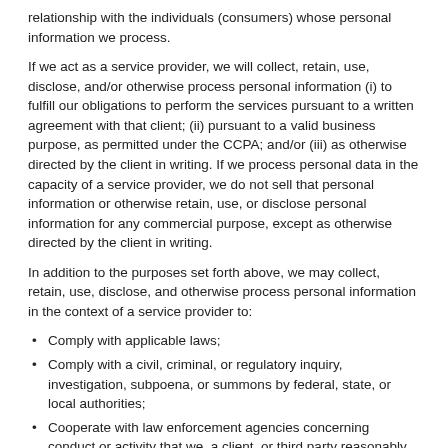relationship with the individuals (consumers) whose personal information we process.
If we act as a service provider, we will collect, retain, use, disclose, and/or otherwise process personal information (i) to fulfill our obligations to perform the services pursuant to a written agreement with that client; (ii) pursuant to a valid business purpose, as permitted under the CCPA; and/or (iii) as otherwise directed by the client in writing. If we process personal data in the capacity of a service provider, we do not sell that personal information or otherwise retain, use, or disclose personal information for any commercial purpose, except as otherwise directed by the client in writing.
In addition to the purposes set forth above, we may collect, retain, use, disclose, and otherwise process personal information in the context of a service provider to:
Comply with applicable laws;
Comply with a civil, criminal, or regulatory inquiry, investigation, subpoena, or summons by federal, state, or local authorities;
Cooperate with law enforcement agencies concerning conduct or activity that we, a client, or third party reasonably and in good faith believes may violate federal, state, or local law;